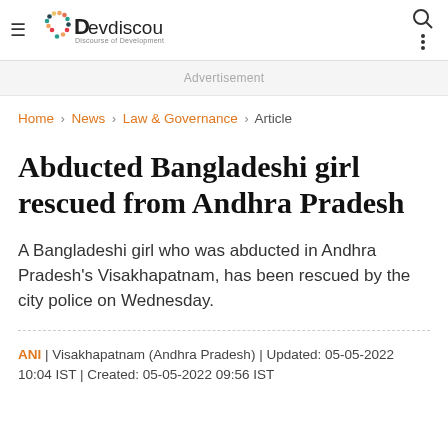Devdiscourse – Discourse of Development
Advertisement
Home › News › Law & Governance › Article
Abducted Bangladeshi girl rescued from Andhra Pradesh
A Bangladeshi girl who was abducted in Andhra Pradesh's Visakhapatnam, has been rescued by the city police on Wednesday.
ANI | Visakhapatnam (Andhra Pradesh) | Updated: 05-05-2022 10:04 IST | Created: 05-05-2022 09:56 IST